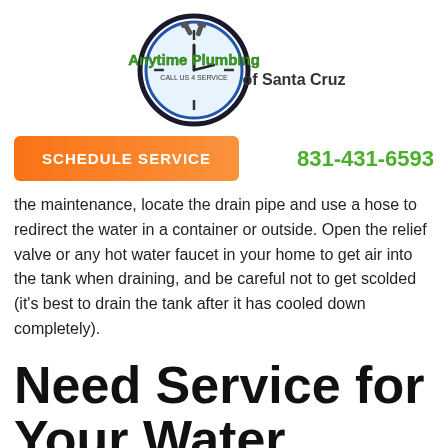[Figure (logo): Anytime Plumbing of Santa Cruz circular clock logo with green text]
SCHEDULE SERVICE
831-431-6593
the maintenance, locate the drain pipe and use a hose to redirect the water in a container or outside. Open the relief valve or any hot water faucet in your home to get air into the tank when draining, and be careful not to get scolded (it's best to drain the tank after it has cooled down completely).
Need Service for Your Water Heater?